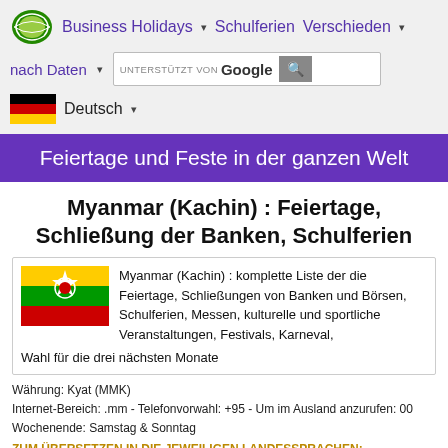Business Holidays ▾  Schulferien  Verschieden ▾
nach Daten ▾  UNTERSTÜTZT VON Google 🔍
🇩🇪 Deutsch ▾
Feiertage und Feste in der ganzen Welt
Myanmar (Kachin) : Feiertage, Schließung der Banken, Schulferien
Myanmar (Kachin) : komplette Liste der die Feiertage, Schließungen von Banken und Börsen, Schulferien, Messen, kulturelle und sportliche Veranstaltungen, Festivals, Karneval, Wahl für die drei nächsten Monate
Währung: Kyat (MMK)
Internet-Bereich: .mm - Telefonvorwahl: +95 - Um im Ausland anzurufen: 00
Wochenende: Samstag & Sonntag
ZUM ÜBERSETZEN IN DIE JEWEILIGEN LANDESSPRACHEN:
Birmanisch (30 Mio. Sprecher), Eingeborenensprachen ...